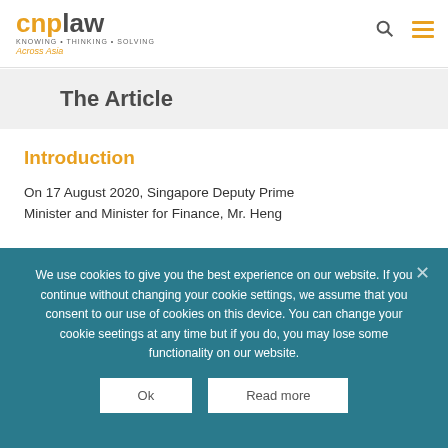cnplaw — KNOWING • THINKING • SOLVING Across Asia
The Article
Introduction
On 17 August 2020, Singapore Deputy Prime Minister and Minister for Finance, Mr. Heng
We use cookies to give you the best experience on our website. If you continue without changing your cookie settings, we assume that you consent to our use of cookies on this device. You can change your cookie seetings at any time but if you do, you may lose some functionality on our website.